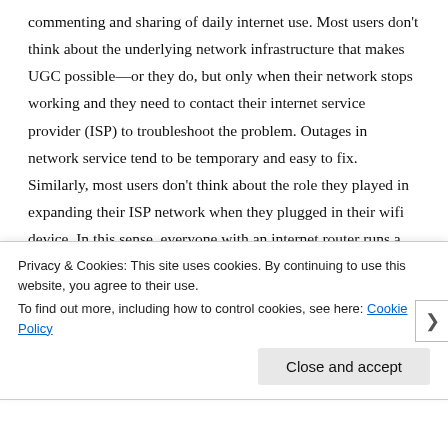commenting and sharing of daily internet use. Most users don't think about the underlying network infrastructure that makes UGC possible—or they do, but only when their network stops working and they need to contact their internet service provider (ISP) to troubleshoot the problem. Outages in network service tend to be temporary and easy to fix. Similarly, most users don't think about the role they played in expanding their ISP network when they plugged in their wifi device. In this sense, everyone with an internet router runs a node on the network. However, the network is rarely thought of in this way. Instead, an internet driven by UGC
Privacy & Cookies: This site uses cookies. By continuing to use this website, you agree to their use. To find out more, including how to control cookies, see here: Cookie Policy